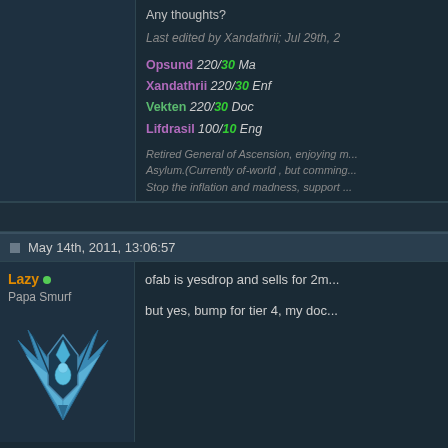Any thoughts?
Last edited by Xandathrii; Jul 29th, 2...
Opsund 220/30 Ma
Xandathrii 220/30 Enf
Vekten 220/30 Doc
Lifdrasil 100/10 Eng
Retired General of Ascension, enjoying m... Asylum.(Currently of-world , but comming... Stop the inflation and madness, support ...
May 14th, 2011, 13:06:57
Lazy
Papa Smurf
ofab is yesdrop and sells for 2m...
but yes, bump for tier 4, my doc...
[Figure (illustration): Game character avatar icon - stylized wing/shield emblem in blue and grey tones]